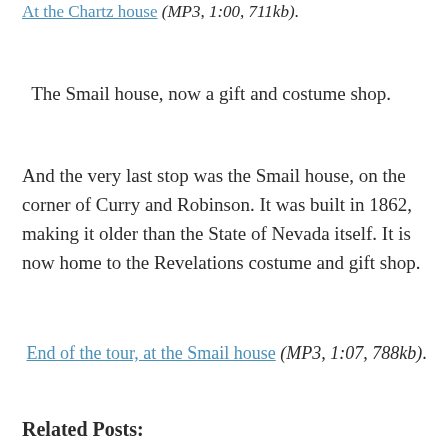At the Chartz house (MP3, 1:00, 711kb).
The Smail house, now a gift and costume shop.
And the very last stop was the Smail house, on the corner of Curry and Robinson. It was built in 1862, making it older than the State of Nevada itself. It is now home to the Revelations costume and gift shop.
End of the tour, at the Smail house (MP3, 1:07, 788kb).
Related Posts: